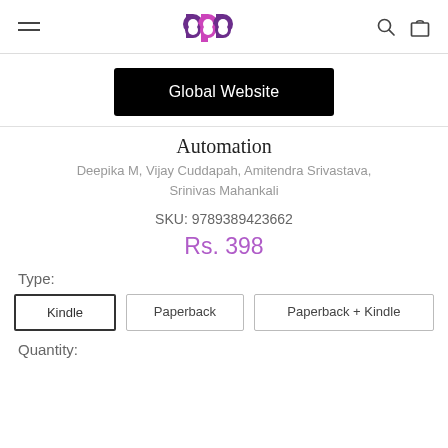BPB Publications — navigation header with logo, hamburger menu, search and cart icons
Global Website
Automation
Deepika M, Vijay Cuddapah, Amitendra Srivastava, Srinivas Mahankali
SKU: 9789389423662
Rs. 398
Type:
Kindle
Paperback
Paperback + Kindle
Quantity: